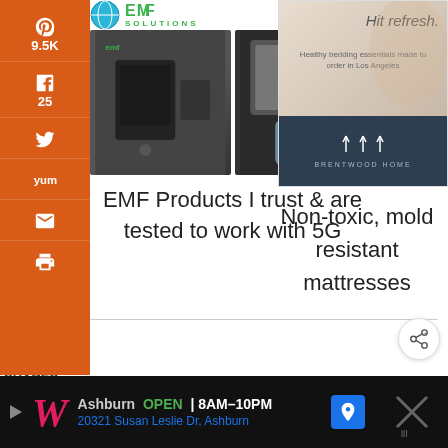[Figure (logo): EMF Solutions logo with globe icon and green text]
[Figure (photo): Two product photos: EMF device and blue pouch on dark background]
[Figure (photo): Advertisement: Hit refresh. Healthy bedding essentials made to order in Los Angeles. Brentwood Home brand.]
EMF Products I trust & are tested to work with 5G
Non-toxic, mold resistant mattresses
[Figure (infographic): Social share sidebar with Pinterest 9.5K, Facebook 25, Twitter, Yummly, Email, Print icons on orange background]
9.5K
SHARES
[Figure (infographic): Share button circle icon]
[Figure (infographic): Bottom advertisement banner: Walgreens - Ashburn OPEN 8AM-10PM, 20321 Susan Leslie Dr, Ashburn]